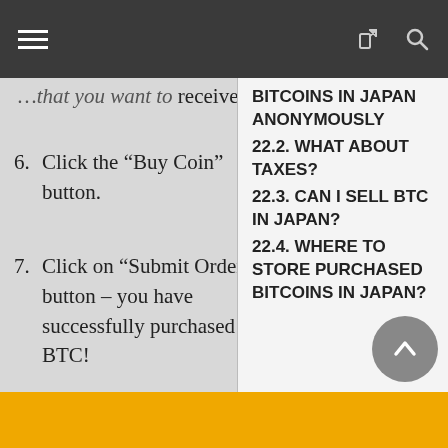receive.
6. Click the “Buy Coin” button.
7. Click on “Submit Order” button – you have successfully purchased BTC!
BITCOINS IN JAPAN ANONYMOUSLY
22.2. WHAT ABOUT TAXES?
22.3. CAN I SELL BTC IN JAPAN?
22.4. WHERE TO STORE PURCHASED BITCOINS IN JAPAN?